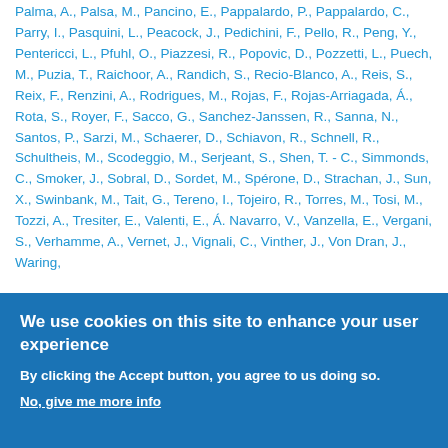Palma, A., Palsa, M., Pancino, E., Pappalardo, P., Pappalardo, C., Parry, I., Pasquini, L., Peacock, J., Pedichini, F., Pello, R., Peng, Y., Pentericci, L., Pfuhl, O., Piazzesi, R., Popovic, D., Pozzetti, L., Puech, M., Puzia, T., Raichoor, A., Randich, S., Recio-Blanco, A., Reis, S., Reix, F., Renzini, A., Rodrigues, M., Rojas, F., Rojas-Arriagada, Á., Rota, S., Royer, F., Sacco, G., Sanchez-Janssen, R., Sanna, N., Santos, P., Sarzi, M., Schaerer, D., Schiavon, R., Schnell, R., Schultheis, M., Scodeggio, M., Serjeant, S., Shen, T. - C., Simmonds, C., Smoker, J., Sobral, D., Sordet, M., Spérone, D., Strachan, J., Sun, X., Swinbank, M., Tait, G., Tereno, I., Tojeiro, R., Torres, M., Tosi, M., Tozzi, A., Tresiter, E., Valenti, E., Á. Navarro, V., Vanzella, E., Vergani, S., Verhamme, A., Vernet, J., Vignali, C., Vinther, J., Von Dran, J., Waring,
We use cookies on this site to enhance your user experience
By clicking the Accept button, you agree to us doing so.
No, give me more info